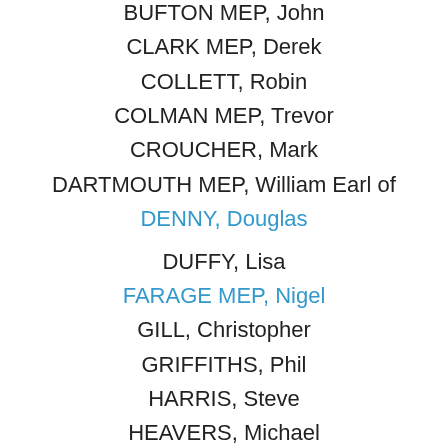BUFTON MEP, John
CLARK MEP, Derek
COLLETT, Robin
COLMAN MEP, Trevor
CROUCHER, Mark
DARTMOUTH MEP, William Earl of
DENNY, Douglas
DUFFY, Lisa
FARAGE MEP, Nigel
GILL, Christopher
GRIFFITHS, Phil
HARRIS, Steve
HEAVERS, Michael
HOLMES MEP, Michael
IRVINE, Ken
JENKINS, Lindsay KNAPMAN MEP, Roger